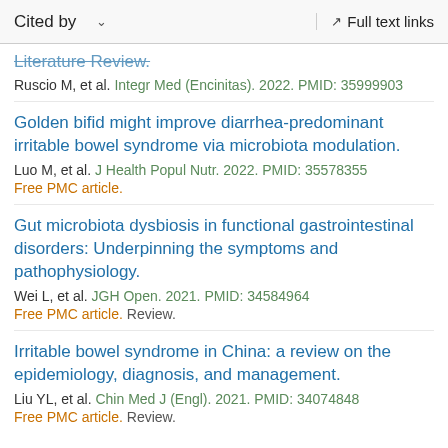Cited by   ∨   Full text links
Literature Review.
Ruscio M, et al. Integr Med (Encinitas). 2022. PMID: 35999903
Golden bifid might improve diarrhea-predominant irritable bowel syndrome via microbiota modulation.
Luo M, et al. J Health Popul Nutr. 2022. PMID: 35578355
Free PMC article.
Gut microbiota dysbiosis in functional gastrointestinal disorders: Underpinning the symptoms and pathophysiology.
Wei L, et al. JGH Open. 2021. PMID: 34584964
Free PMC article. Review.
Irritable bowel syndrome in China: a review on the epidemiology, diagnosis, and management.
Liu YL, et al. Chin Med J (Engl). 2021. PMID: 34074848
Free PMC article. Review.